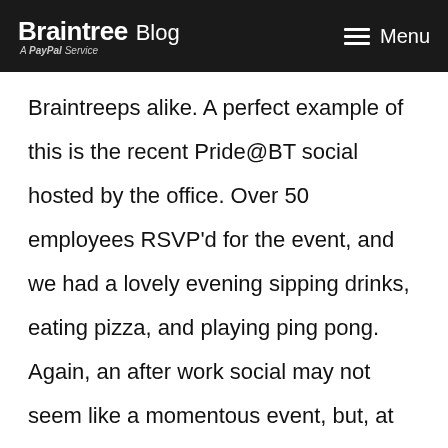Braintree Blog | A PayPal Service | Menu
Braintreeps alike. A perfect example of this is the recent Pride@BT social hosted by the office. Over 50 employees RSVP'd for the event, and we had a lovely evening sipping drinks, eating pizza, and playing ping pong. Again, an after work social may not seem like a momentous event, but, at least for me, little actions such as this speak to the everyday, open culture Braintree and its employees work to foster.